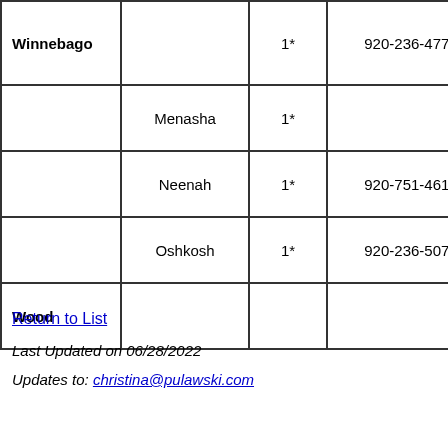| County | City | Count | Phone | Link |
| --- | --- | --- | --- | --- |
| Winnebago |  | 1* | 920-236-4777 | Win... Or v... |
|  | Menasha | 1* |  |  |
|  | Neenah | 1* | 920-751-4610 |  |
|  | Oshkosh | 1* | 920-236-5070 |  |
| Wood |  |  |  | W... |
Return to List
Last Updated on 06/28/2022
Updates to: christina@pulawski.com